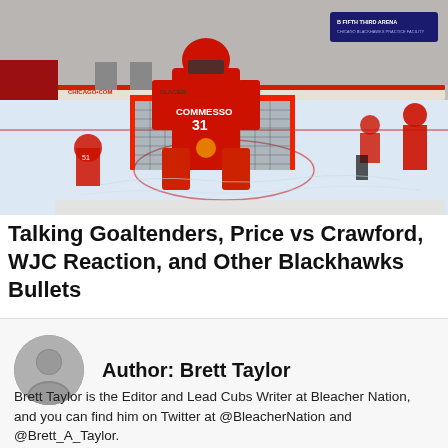[Figure (photo): Hockey goaltender wearing number 31 jersey with name COMMESSO, standing in front of a goal net at Fifth Third Arena during a Chicago Blackhawks practice session. Other players in red Blackhawks jerseys visible on the ice rink in the background.]
Talking Goaltenders, Price vs Crawford, WJC Reaction, and Other Blackhawks Bullets
Author: Brett Taylor
Brett Taylor is the Editor and Lead Cubs Writer at Bleacher Nation, and you can find him on Twitter at @BleacherNation and @Brett_A_Taylor.